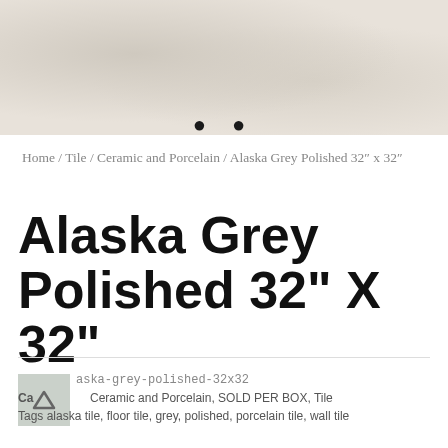[Figure (photo): Light grey/beige textured tile surface photo used as product image carousel, with two navigation dots below]
Home / Tile / Ceramic and Porcelain / Alaska Grey Polished 32" x 32"
Alaska Grey Polished 32" X 32"
SKU: alaska-grey-polished-32x32
Categories: Ceramic and Porcelain, SOLD PER BOX, Tile
Tags: alaska tile, floor tile, grey, polished, porcelain tile, wall tile